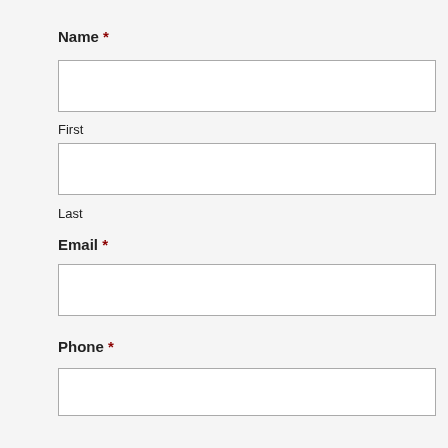Name *
[Figure (other): Empty text input field for First name]
First
[Figure (other): Empty text input field for Last name]
Last
Email *
[Figure (other): Empty text input field for Email]
Phone *
[Figure (other): Empty text input field for Phone]